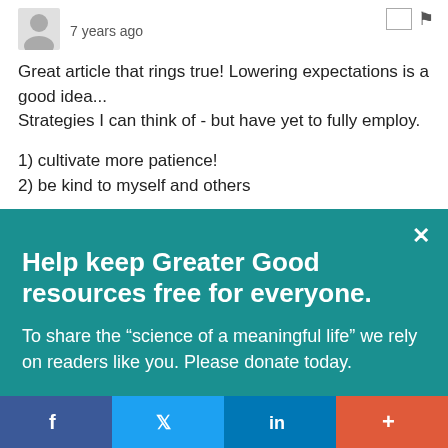[Figure (illustration): User avatar (grey silhouette icon)]
7 years ago
Great article that rings true! Lowering expectations is a good idea...
Strategies I can think of - but have yet to fully employ.
1) cultivate more patience!
2) be kind to myself and others
Help keep Greater Good resources free for everyone.
To share the “science of a meaningful life” we rely on readers like you. Please donate today.
Give Now
[Figure (infographic): Social share bar with Facebook, Twitter, LinkedIn, and plus buttons]